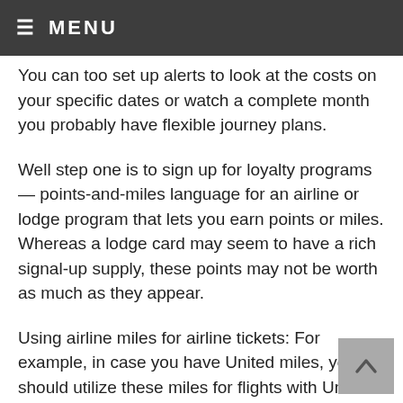≡ MENU
You can too set up alerts to look at the costs on your specific dates or watch a complete month you probably have flexible journey plans.
Well step one is to sign up for loyalty programs — points-and-miles language for an airline or lodge program that lets you earn points or miles. Whereas a lodge card may seem to have a rich signal-up supply, these points may not be worth as much as they appear.
Using airline miles for airline tickets: For example, in case you have United miles, you should utilize these miles for flights with United and its various partners. Right here, we arm you with the instruments you may need to choose the very best rewards card for your way of life, both as a